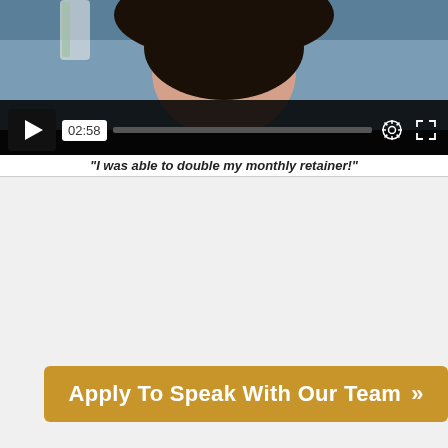[Figure (screenshot): Video player showing a woman's face, with play button, timestamp 02:58, progress bar, settings and fullscreen icons on dark control bar]
"I was able to double my monthly retainer!"
Apply To Speak With Our Team  »
Achieve The Freedom You've Always Wanted To Have
Learn highly valuable skills, charge your worth, work with incredible companies, remove your income ceiling, and start your path to becoming an entrepreneur.